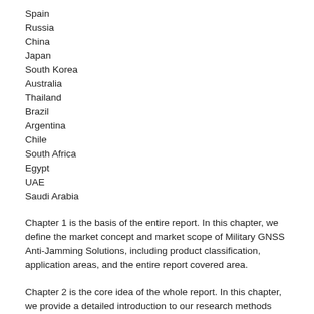Spain
Russia
China
Japan
South Korea
Australia
Thailand
Brazil
Argentina
Chile
South Africa
Egypt
UAE
Saudi Arabia
Chapter 1 is the basis of the entire report. In this chapter, we define the market concept and market scope of Military GNSS Anti-Jamming Solutions, including product classification, application areas, and the entire report covered area.
Chapter 2 is the core idea of the whole report. In this chapter, we provide a detailed introduction to our research methods and data sources.